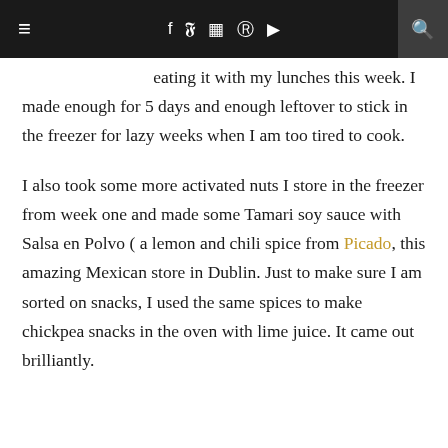≡  f  y  ☷  ℗  ▶  🔍
eating it with my lunches this week. I made enough for 5 days and enough leftover to stick in the freezer for lazy weeks when I am too tired to cook.
I also took some more activated nuts I store in the freezer from week one and made some Tamari soy sauce with Salsa en Polvo ( a lemon and chili spice from Picado, this amazing Mexican store in Dublin. Just to make sure I am sorted on snacks, I used the same spices to make chickpea snacks in the oven with lime juice. It came out brilliantly.